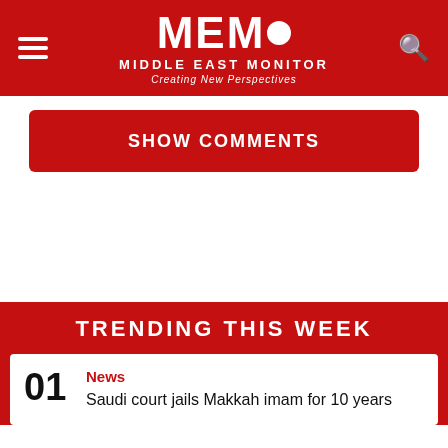MEMO MIDDLE EAST MONITOR Creating New Perspectives
SHOW COMMENTS
TRENDING THIS WEEK
01 News Saudi court jails Makkah imam for 10 years